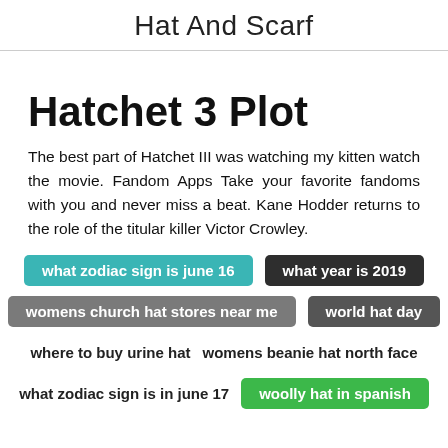Hat And Scarf
Hatchet 3 Plot
The best part of Hatchet III was watching my kitten watch the movie. Fandom Apps Take your favorite fandoms with you and never miss a beat. Kane Hodder returns to the role of the titular killer Victor Crowley.
what zodiac sign is june 16
what year is 2019
womens church hat stores near me
world hat day
where to buy urine hat
womens beanie hat north face
what zodiac sign is in june 17
woolly hat in spanish